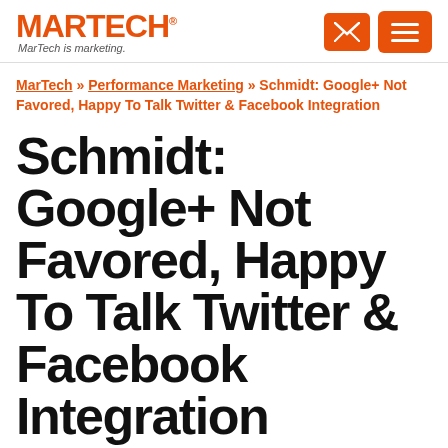MARTECH® MarTech is marketing.
MarTech » Performance Marketing » Schmidt: Google+ Not Favored, Happy To Talk Twitter & Facebook Integration
Schmidt: Google+ Not Favored, Happy To Talk Twitter & Facebook Integration
Google executive chairman Eric Schmidt says Google+ content is not being favored